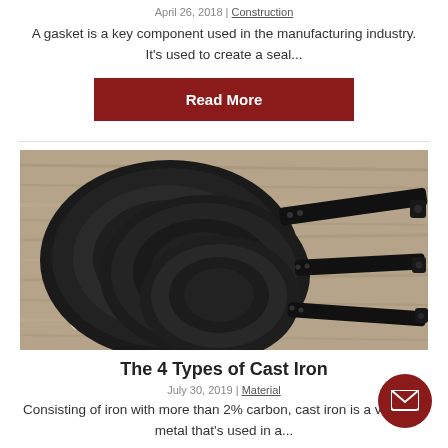April 26, 2018 | Construction
A gasket is a key component used in the manufacturing industry. It's used to create a seal…
Read More
[Figure (photo): Three black cast iron / carbon steel frying pans stacked on a wooden surface with a white cloth, viewed from above at an angle showing the handles extending to the right.]
The 4 Types of Cast Iron
July 30, 2019 | Material
Consisting of iron with more than 2% carbon, cast iron is a versatile metal that's used in a…